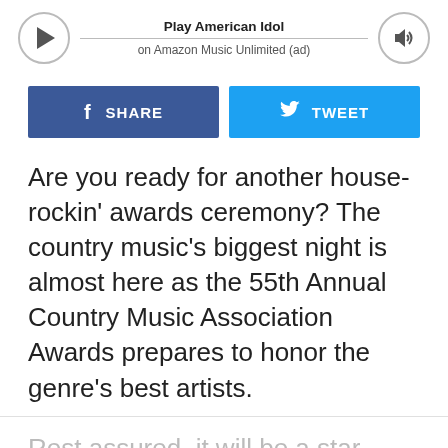[Figure (other): Music player bar showing Play American Idol on Amazon Music Unlimited (ad), with play button on left and volume button on right, connected by a progress line]
[Figure (other): Social sharing buttons: blue Facebook SHARE button and light blue Twitter TWEET button]
Are you ready for another house-rockin' awards ceremony? The country music's biggest night is almost here as the 55th Annual Country Music Association Awards prepares to honor the genre's best artists.
Rest assured, it will be a star-studded night, complete with performances from